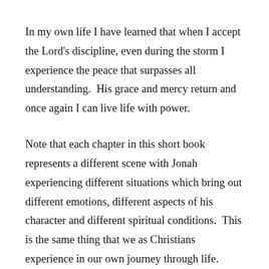In my own life I have learned that when I accept the Lord's discipline, even during the storm I experience the peace that surpasses all understanding.  His grace and mercy return and once again I can live life with power.
Note that each chapter in this short book represents a different scene with Jonah experiencing different situations which bring out different emotions, different aspects of his character and different spiritual conditions.  This is the same thing that we as Christians experience in our own journey through life.  Some situations bring out the best in us while others bring out the worst.  We are works in progress, don't think for a moment that we have reached perfection, but rather we are being perfected by God as He works in